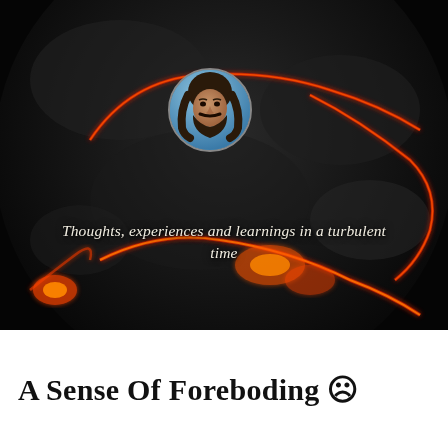[Figure (illustration): Dark volcanic/lava rock sphere with glowing red-orange lava cracks, and a circular portrait of a bearded man overlaid in the center-upper area]
Thoughts, experiences and learnings in a turbulent time
A Sense Of Foreboding ☹